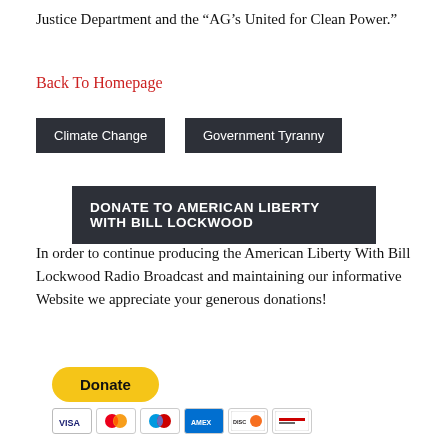Justice Department and the “AG’s United for Clean Power.”
Back To Homepage
Climate Change
Government Tyranny
DONATE TO AMERICAN LIBERTY WITH BILL LOCKWOOD
In order to continue producing the American Liberty With Bill Lockwood Radio Broadcast and maintaining our informative Website we appreciate your generous donations!
[Figure (other): PayPal Donate button (yellow rounded rectangle) with payment card icons below (Visa, Mastercard, Maestro, Amex, Discover, another card)]